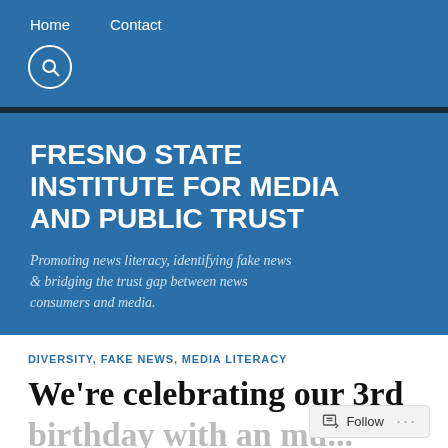Home   Contact
FRESNO STATE INSTITUTE FOR MEDIA AND PUBLIC TRUST
Promoting news literacy, identifying fake news & bridging the trust gap between news consumers and media.
DIVERSITY, FAKE NEWS, MEDIA LITERACY
We’re celebrating our 3rd birthday with an mu...